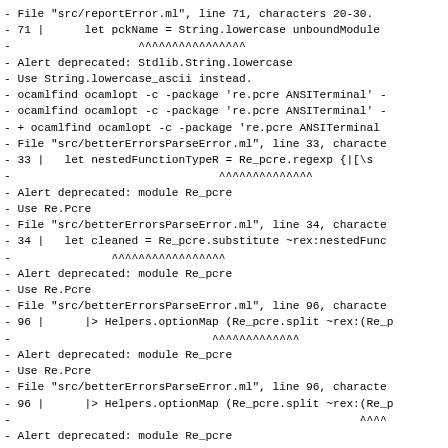- File "src/reportError.ml", line 71, characters 20-30.
- 71 |      let pckName = String.lowercase unboundModule
-                   ^^^^^^^^^^^^^^^^
- Alert deprecated: Stdlib.String.lowercase
- Use String.lowercase_ascii instead.
- ocamlfind ocamlopt -c -package 're.pcre ANSITerminal' -
- ocamlfind ocamlopt -c -package 're.pcre ANSITerminal' -
- + ocamlfind ocamlopt -c -package 're.pcre ANSITerminal
- File "src/betterErrorsParseError.ml", line 33, characte
- 33 |   let nestedFunctionTypeR = Re_pcre.regexp {|\([\s
-                               ^^^^^^^^^^^^^^
- Alert deprecated: module Re_pcre
- Use Re.Pcre
- File "src/betterErrorsParseError.ml", line 34, characte
- 34 |   let cleaned = Re_pcre.substitute ~rex:nestedFunc
-               ^^^^^^^^^^^^^^^^^
- Alert deprecated: module Re_pcre
- Use Re.Pcre
- File "src/betterErrorsParseError.ml", line 96, characte
- 96 |      |> Helpers.optionMap (Re_pcre.split ~rex:(Re_p
-                              ^^^^^^^^^^^^^
- Alert deprecated: module Re_pcre
- Use Re.Pcre
- File "src/betterErrorsParseError.ml", line 96, characte
- 96 |      |> Helpers.optionMap (Re_pcre.split ~rex:(Re_p
-                                                    ^^^^
- Alert deprecated: module Re_pcre
- Use Re.Pcre
- File "src/betterErrorsParseError.ml", line 163, charact
- 163 |   let allR = Re_pcre.regexp {|Syntax error|} in
-               ^^^^^^^^^^^^^^